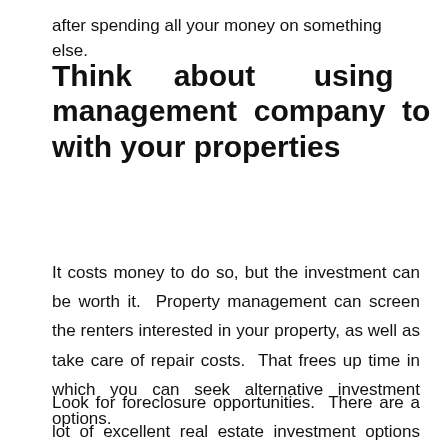after spending all your money on something else.
Think about using a management company to help with your properties
It costs money to do so, but the investment can be worth it. Property management can screen the renters interested in your property, as well as take care of repair costs. That frees up time in which you can seek alternative investment options.
Look for foreclosure opportunities. There are a lot of excellent real estate investment options among foreclosures. They are near always listed well belo